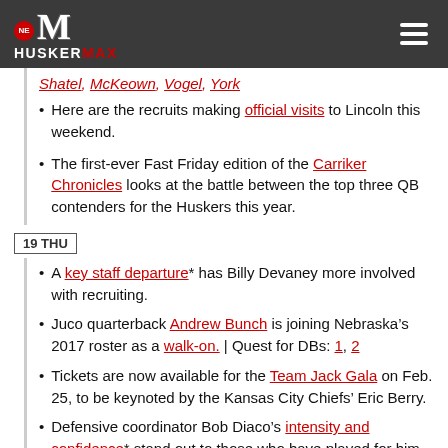HUSKERMAX
Shatel, McKeown, Vogel, York
Here are the recruits making official visits to Lincoln this weekend.
The first-ever Fast Friday edition of the Carriker Chronicles looks at the battle between the top three QB contenders for the Huskers this year.
19 THU
A key staff departure* has Billy Devaney more involved with recruiting.
Juco quarterback Andrew Bunch is joining Nebraska’s 2017 roster as a walk-on. | Quest for DBs: 1, 2
Tickets are now available for the Team Jack Gala on Feb. 25, to be keynoted by the Kansas City Chiefs’ Eric Berry.
Defensive coordinator Bob Diaco’s intensity and confidence* stand out to those who have played for him.
Minnesota’s hiring of P.J. Fleck is likely to put a dent in other Big Ten West teams’ recruiting.